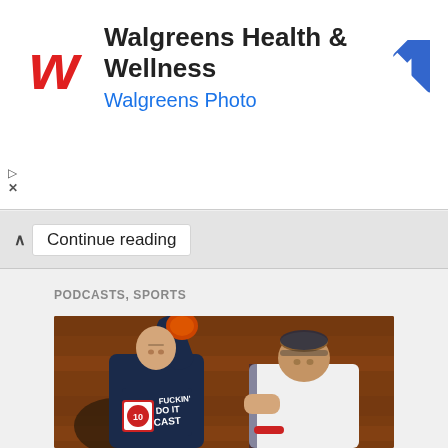[Figure (screenshot): Walgreens Health & Wellness advertisement banner with red Walgreens W logo, blue navigation arrow icon, ad title 'Walgreens Health & Wellness', subtitle 'Walgreens Photo', and small play/close controls at bottom left]
Continue reading
PODCASTS, SPORTS
[Figure (photo): Sports podcast promotional image showing two baseball players. Left player wearing dark shirt with 'FUCKIN' DO IT CAST' text and a podcast logo, right arm raised. Right player in white baseball uniform looking to the side. Background is a brown wooden wall.]